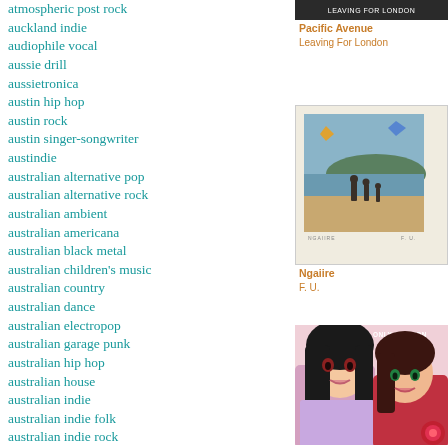atmospheric post rock
auckland indie
audiophile vocal
aussie drill
aussietronica
austin hip hop
austin rock
austin singer-songwriter
austindie
australian alternative pop
australian alternative rock
australian ambient
australian americana
australian black metal
australian children's music
australian country
australian dance
australian electropop
australian garage punk
australian hip hop
australian house
australian indie
australian indie folk
australian indie rock
australian indigenous
australian indigenous hip hop
[Figure (photo): Album cover for Pacific Avenue - Leaving For London, dark banner with text]
Pacific Avenue
Leaving For London
[Figure (photo): Album cover for Ngaiire - F.U., showing beach scene with people standing on shore, labeled NGAIIRE and F.U.]
Ngaiire
F. U.
[Figure (illustration): Album cover for Keli Holiday - Only Fashion, showing anime-style illustrated girls]
Keli Holiday